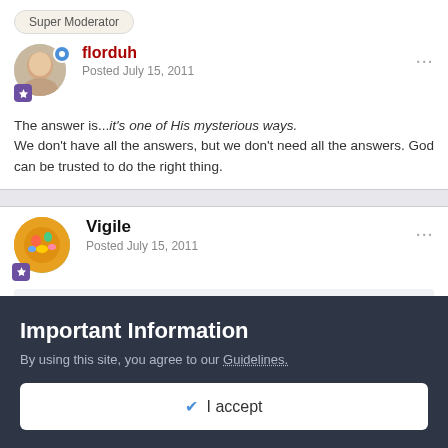Super Moderator
florduh
Posted July 15, 2011
The answer is...it's one of His mysterious ways. We don't have all the answers, but we don't need all the answers. God can be trusted to do the right thing.
Vigile
Posted July 15, 2011
Important Information
By using this site, you agree to our Guidelines.
✔ I accept